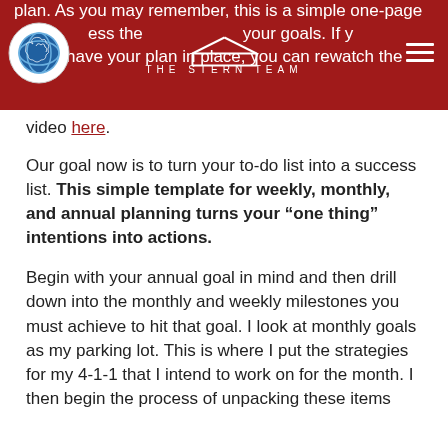THE STERN TEAM
plan. As you may remember, this is a simple one-page ...ess the ... your goals. If you do not have your plan in place, you can rewatch the video here.
Our goal now is to turn your to-do list into a success list. This simple template for weekly, monthly, and annual planning turns your “one thing” intentions into actions.
Begin with your annual goal in mind and then drill down into the monthly and weekly milestones you must achieve to hit that goal. I look at monthly goals as my parking lot. This is where I put the strategies for my 4-1-1 that I intend to work on for the month. I then begin the process of unpacking these items